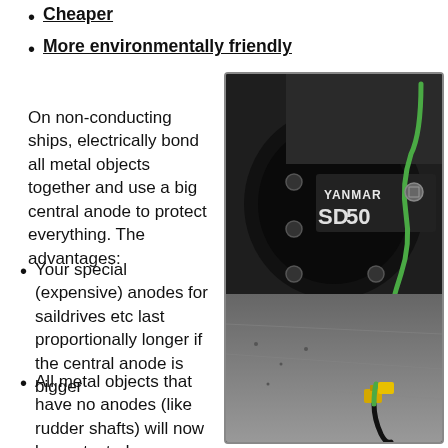Cheaper
More environmentally friendly
On non-conducting ships, electrically bond all metal objects together and use a big central anode to protect everything. The advantages:
[Figure (photo): Photo of a Yanmar SD50 saildrive with a green bonding wire and electrical bonding connections visible at the bottom]
Your special (expensive) anodes for saildrives etc last proportionally longer if the central anode is bigger
All metal objects that have no anodes (like rudder shafts) will now be protected
Less risk of stray voltages because they will be short circuited